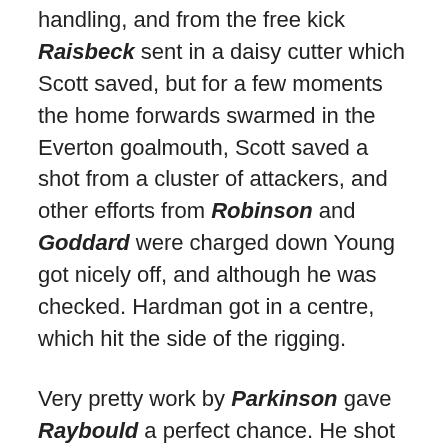handling, and from the free kick Raisbeck sent in a daisy cutter which Scott saved, but for a few moments the home forwards swarmed in the Everton goalmouth, Scott saved a shot from a cluster of attackers, and other efforts from Robinson and Goddard were charged down Young got nicely off, and although he was checked. Hardman got in a centre, which hit the side of the rigging.
Very pretty work by Parkinson gave Raybould a perfect chance. He shot in at once a low one, which Scott only kept out at the expense of a corner, which brought no advantage, Hughes heading over. Sandy Young was dribbling for position when Hughes tripped him, and from the